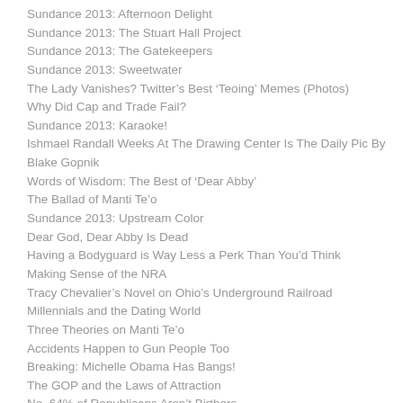Sundance 2013: Afternoon Delight
Sundance 2013: The Stuart Hall Project
Sundance 2013: The Gatekeepers
Sundance 2013: Sweetwater
The Lady Vanishes? Twitter's Best 'Teoing' Memes (Photos)
Why Did Cap and Trade Fail?
Sundance 2013: Karaoke!
Ishmael Randall Weeks At The Drawing Center Is The Daily Pic By Blake Gopnik
Words of Wisdom: The Best of 'Dear Abby'
The Ballad of Manti Te'o
Sundance 2013: Upstream Color
Dear God, Dear Abby Is Dead
Having a Bodyguard is Way Less a Perk Than You'd Think
Making Sense of the NRA
Tracy Chevalier's Novel on Ohio's Underground Railroad
Millennials and the Dating World
Three Theories on Manti Te'o
Accidents Happen to Gun People Too
Breaking: Michelle Obama Has Bangs!
The GOP and the Laws of Attraction
No, 64% of Republicans Aren't Birthers
Lennay Marie Kekua and Manti Te'o: A Scandal Explained
This is Why I'm Fat
Meretz Appeals To Smart Secular Women
Raise the Debt Ceiling Once, and Raise it Big
Buzz Bissinger On What He Now Thinks of Lance Armstrong